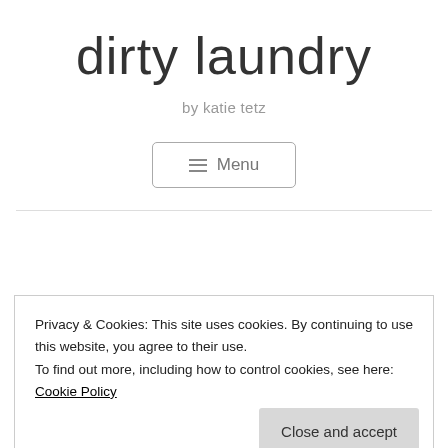dirty laundry
by katie tetz
≡ Menu
Privacy & Cookies: This site uses cookies. By continuing to use this website, you agree to their use.
To find out more, including how to control cookies, see here: Cookie Policy
Close and accept
Eskimo Sisters